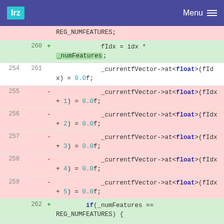lrz   Menu
[Figure (screenshot): Code diff view showing removed and added lines of C++ code. Lines 255-259 are removed (red background) showing _currentfVector->at<float>(fIdx + N) = 0.0f; assignments. Lines 260-264 are added (green background) showing fIdx = idx * _numFeatures; and if(_numFeatures == REG_NUMFEATURES) { and subsequent _currentfVector->at<float> assignments.]